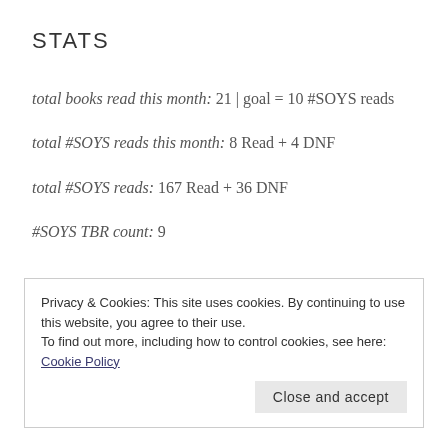STATS
total books read this month: 21 | goal = 10 #SOYS reads
total #SOYS reads this month: 8 Read + 4 DNF
total #SOYS reads: 167 Read + 36 DNF
#SOYS TBR count: 9
Privacy & Cookies: This site uses cookies. By continuing to use this website, you agree to their use. To find out more, including how to control cookies, see here: Cookie Policy
Close and accept